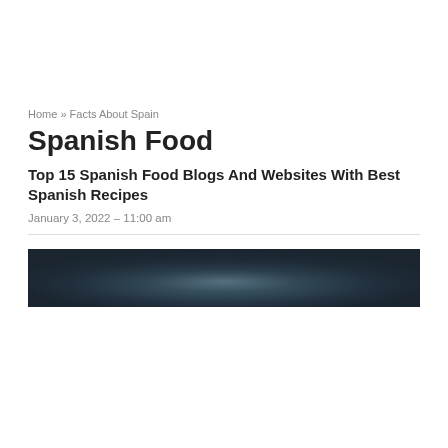Home » Facts About Spain
Spanish Food
Top 15 Spanish Food Blogs And Websites With Best Spanish Recipes
January 3, 2022 – 11:00 am
[Figure (photo): Dark atmospheric hero image with dark blue-grey tones and subtle light in center]